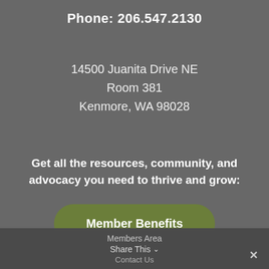Phone: 206.547.2130
14500 Juanita Drive NE
Room 381
Kenmore, WA 98028
Get all the resources, community, and advocacy you need to thrive and grow:
[Figure (other): Green rounded button labeled 'Member Benefits']
[Figure (other): Yellow rounded button labeled 'Join Us Today']
Members Area
Share This ∨
Contact Us